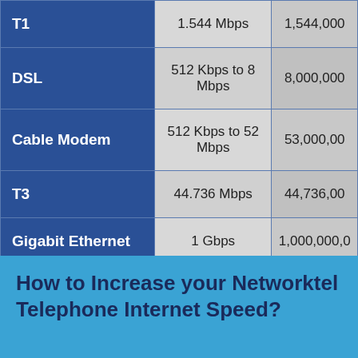| Connection Type | Speed | Bps |
| --- | --- | --- |
| T1 | 1.544 Mbps | 1,544,000 |
| DSL | 512 Kbps to 8 Mbps | 8,000,000 |
| Cable Modem | 512 Kbps to 52 Mbps | 53,000,000 |
| T3 | 44.736 Mbps | 44,736,00 |
| Gigabit Ethernet | 1 Gbps | 1,000,000,0 |
| OC-256 | 13.271 Gbps | 13,271,000, |
How to Increase your Networktel Telephone Internet Speed?